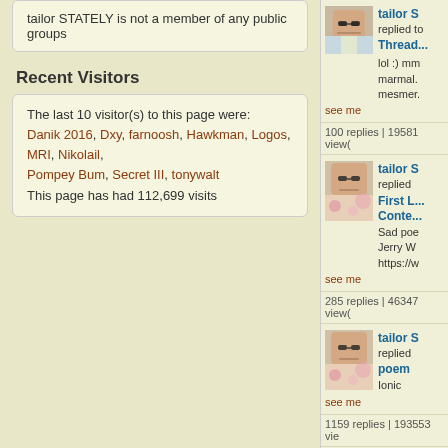tailor STATELY is not a member of any public groups
Recent Visitors
The last 10 visitor(s) to this page were:
Danik 2016, Dxy, farnoosh, Hawkman, Logos, MRI, Nikolail, Pompey Bum, Secret III, tonywalt
This page has had 112,699 visits
[Figure (photo): Avatar photo of tailor STATELY - person with sunglasses]
tailor S replied to Thread... lol :) mm marmal. mesmer.
100 replies | 19581 view(
[Figure (photo): Avatar photo of tailor STATELY - person with sunglasses]
tailor S replied First L... Conte... Sad poe Jerry W https://w
see me
285 replies | 46347 view(
[Figure (photo): Avatar photo of tailor STATELY - person with sunglasses]
tailor S replied poem Ionic
see me
1159 replies | 193553 vie